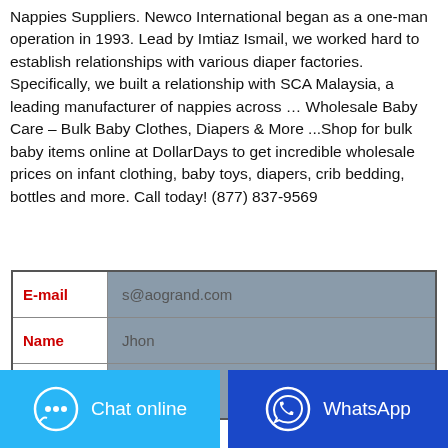Nappies Suppliers. Newco International began as a one-man operation in 1993. Lead by Imtiaz Ismail, we worked hard to establish relationships with various diaper factories. Specifically, we built a relationship with SCA Malaysia, a leading manufacturer of nappies across … Wholesale Baby Care – Bulk Baby Clothes, Diapers & More ...Shop for bulk baby items online at DollarDays to get incredible wholesale prices on infant clothing, baby toys, diapers, crib bedding, bottles and more. Call today! (877) 837-9569
| Field | Value |
| --- | --- |
| E-mail | s@aogrand.com |
| Name | Jhon |
| Whatsapp/Te |  |